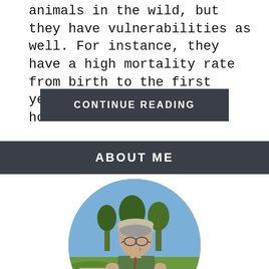animals in the wild, but they have vulnerabilities as well. For instance, they have a high mortality rate from birth to the first year. of their life. But how...
CONTINUE READING
ABOUT ME
[Figure (photo): Circular portrait photo of a man wearing a cap and glasses, dressed in a sleeveless green shirt, standing outdoors in a grassy park with trees in the background and a picnic table to the left.]